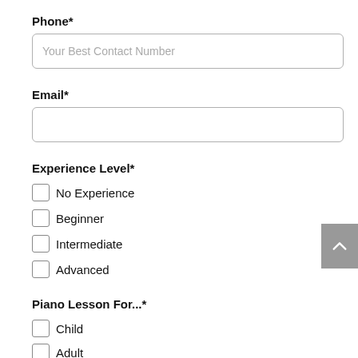Phone*
Your Best Contact Number
Email*
Experience Level*
No Experience
Beginner
Intermediate
Advanced
Piano Lesson For...*
Child
Adult